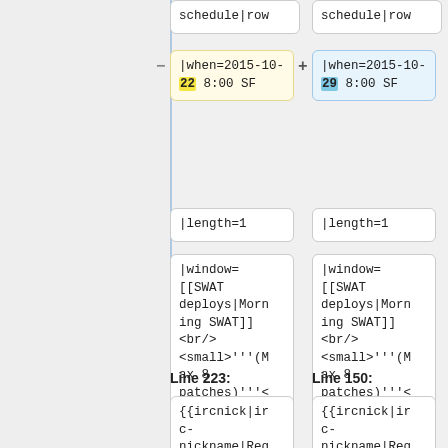schedule|row
schedule|row
|when=2015-10-22 8:00 SF
|when=2015-10-29 8:00 SF
|length=1
|length=1
|window=[[SWAT deploys|Morning SWAT]]<br/><small>'''(Max 8 patches)'''</small>
|window=[[SWAT deploys|Morning SWAT]]<br/><small>'''(Max 8 patches)'''</small>
Line 223:
Line 150:
{{ircnick|irc-nickname|Req
{{ircnick|irc-nickname|Req